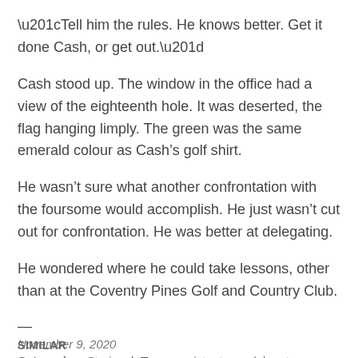“Tell him the rules. He knows better. Get it done Cash, or get out.”
Cash stood up. The window in the office had a view of the eighteenth hole. It was deserted, the flag hanging limply. The green was the same emerald colour as Cash’s golf shirt.
He wasn’t sure what another confrontation with the foursome would accomplish. He just wasn’t cut out for confrontation. He was better at delegating.
He wondered where he could take lessons, other than at the Coventry Pines Golf and Country Club.
—
November 9, 2020
Categories: Stories | Tags: assistant pro, delegate, dreams, golf, job, pro, pro shop, problems | Leave a comment
SIMILAR